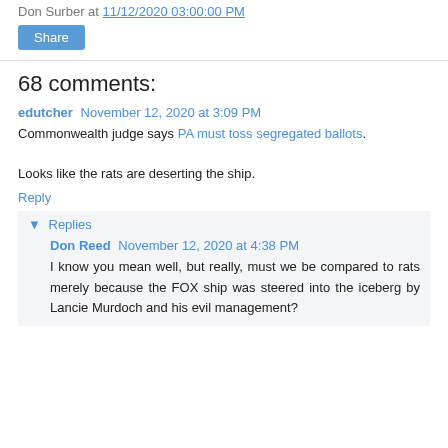Don Surber at 11/12/2020 03:00:00 PM
Share
68 comments:
edutcher November 12, 2020 at 3:09 PM
Commonwealth judge says PA must toss segregated ballots.

Looks like the rats are deserting the ship.
Reply
▼ Replies
Don Reed November 12, 2020 at 4:38 PM
I know you mean well, but really, must we be compared to rats merely because the FOX ship was steered into the iceberg by Lancie Murdoch and his evil management?